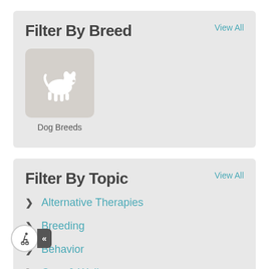Filter By Breed
View All
[Figure (illustration): Dog silhouette icon in a rounded square box, white dog shape on gray background]
Dog Breeds
Filter By Topic
View All
Alternative Therapies
Breeding
Behavior
Care & Wellness